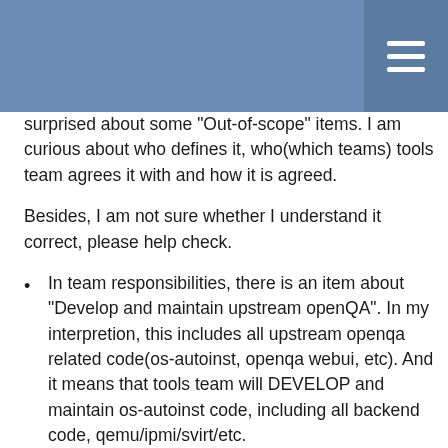surprised about some "Out-of-scope" items. I am curious about who defines it, who(which teams) tools team agrees it with and how it is agreed.
Besides, I am not sure whether I understand it correct, please help check.
In team responsibilities, there is an item about "Develop and maintain upstream openQA". In my interpretion, this includes all upstream openqa related code(os-autoinst, openqa webui, etc). And it means that tools team will DEVELOP and maintain os-autoinst code, including all backend code, qemu/ipmi/svirt/etc.
However in "Out-of-scope", it states that "Feature development within the backend for single teams (commonly provided by teams themselves)". My interpretion of the statement is that for those backend, it means that the tools team will